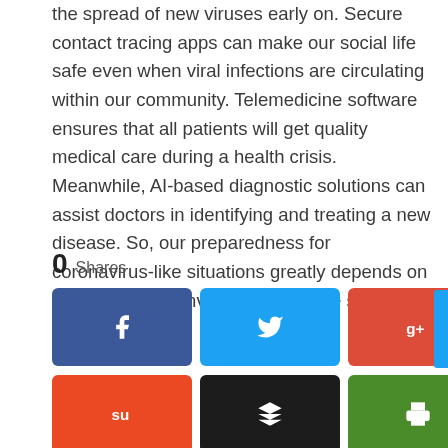the spread of new viruses early on. Secure contact tracing apps can make our social life safe even when viral infections are circulating within our community. Telemedicine software ensures that all patients will get quality medical care during a health crisis. Meanwhile, AI-based diagnostic solutions can assist doctors in identifying and treating a new disease. So, our preparedness for coronavirus-like situations greatly depends on how much we'll invest in healthcare software development.
0 Shares
[Figure (infographic): Social media share buttons: Facebook, Twitter, Google+, Pinterest, LinkedIn in row 1; StumbleUpon, Buffer, Print, More (...) in row 2]